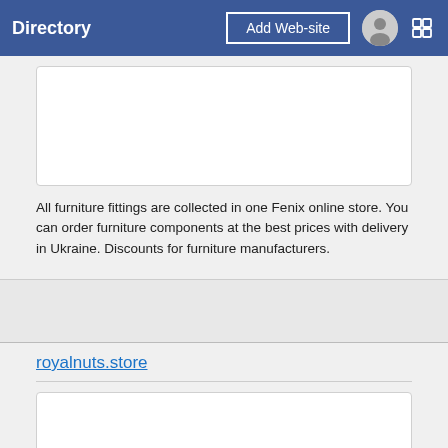Directory | Add Web-site
[Figure (other): White rectangular image card placeholder]
All furniture fittings are collected in one Fenix online store. You can order furniture components at the best prices with delivery in Ukraine. Discounts for furniture manufacturers.
royalnuts.store
[Figure (other): White rectangular image card placeholder]